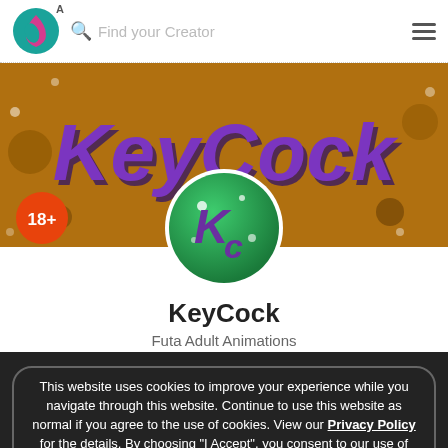[Figure (screenshot): Mobile app navigation bar with logo, search field 'Find your Creator', and hamburger menu]
[Figure (illustration): Banner image with brown/chocolate background showing 'KeyCock' text in large purple italic letters with decorative elements]
[Figure (logo): 18+ orange circular badge on the left side]
[Figure (logo): KeyCock profile avatar: green circular logo with purple 'Kc' letters and white sparkles]
KeyCock
Futa Adult Animations
This website uses cookies to improve your experience while you navigate through this website. Continue to use this website as normal if you agree to the use of cookies. View our Privacy Policy for the details. By choosing "I Accept", you consent to our use of cookies.
I Accept